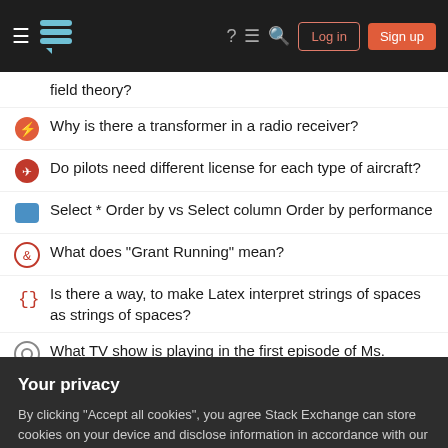Stack Exchange navigation bar with Log in and Sign up buttons
field theory?
Why is there a transformer in a radio receiver?
Do pilots need different license for each type of aircraft?
Select * Order by vs Select column Order by performance
What does "Grant Running" mean?
Is there a way, to make Latex interpret strings of spaces as strings of spaces?
What TV show is playing in the first episode of Ms. Marvel?
Why is the hot part of Webb's MIRI cryocooler in the 300K area?
What are some non-religious reasons to have highly-advanced
Your privacy
By clicking "Accept all cookies", you agree Stack Exchange can store cookies on your device and disclose information in accordance with our Cookie Policy.
Would hoofed creatures bother with sails on their ships?